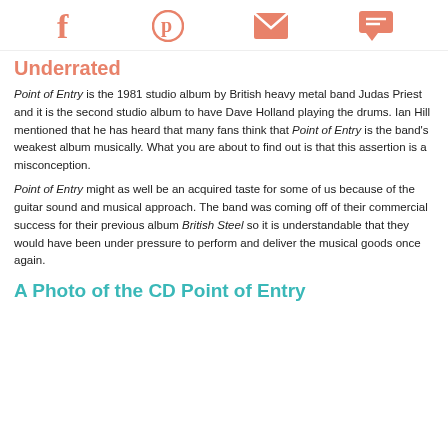[Social share icons: Facebook, Pinterest, Email, Comment]
Underrated
Point of Entry is the 1981 studio album by British heavy metal band Judas Priest and it is the second studio album to have Dave Holland playing the drums. Ian Hill mentioned that he has heard that many fans think that Point of Entry is the band's weakest album musically. What you are about to find out is that this assertion is a misconception.
Point of Entry might as well be an acquired taste for some of us because of the guitar sound and musical approach. The band was coming off of their commercial success for their previous album British Steel so it is understandable that they would have been under pressure to perform and deliver the musical goods once again.
A Photo of the CD Point of Entry